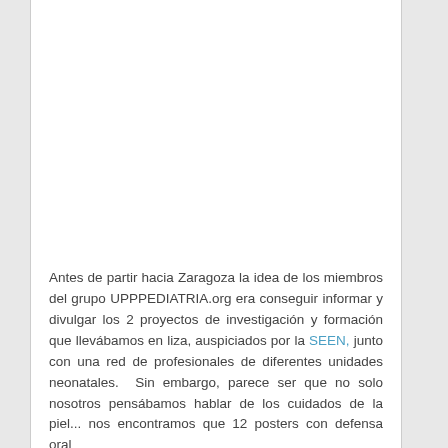Antes de partir hacia Zaragoza la idea de los miembros del grupo UPPPEDIATRIA.org era conseguir informar y divulgar los 2 proyectos de investigación y formación que llevábamos en liza, auspiciados por la SEEN, junto con una red de profesionales de diferentes unidades neonatales.  Sin embargo, parece ser que no solo nosotros pensábamos hablar de los cuidados de la piel... nos encontramos que 12 posters con defensa oral